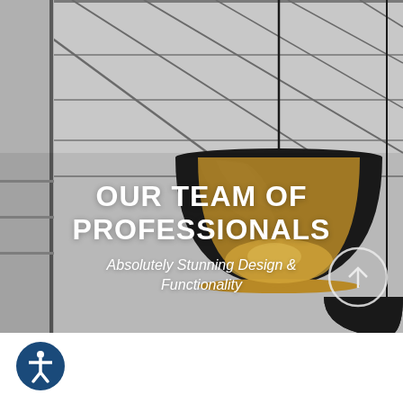[Figure (photo): Interior ceiling with pendant dome lamp (black exterior, gold interior) hanging from a modern geometric ceiling with cable lines. A second black dome lamp is visible at the bottom right. The image is in grayscale/muted tones.]
OUR TEAM OF PROFESSIONALS
Absolutely Stunning Design & Functionality